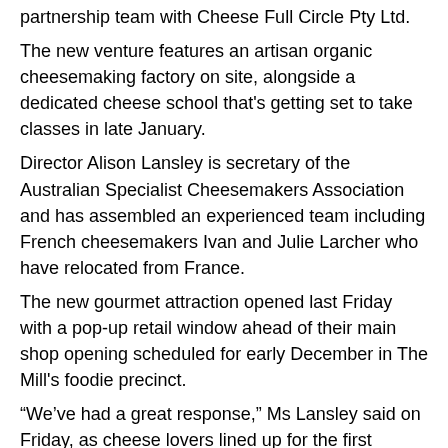partnership team with Cheese Full Circle Pty Ltd.
The new venture features an artisan organic cheesemaking factory on site, alongside a dedicated cheese school that's getting set to take classes in late January.
Director Alison Lansley is secretary of the Australian Specialist Cheesemakers Association and has assembled an experienced team including French cheesemakers Ivan and Julie Larcher who have relocated from France.
The new gourmet attraction opened last Friday with a pop-up retail window ahead of their main shop opening scheduled for early December in The Mill's foodie precinct.
“We’ve had a great response,” Ms Lansley said on Friday, as cheese lovers lined up for the first samples of Long Paddock’s artisan French-style range including specialty rainbow wattle cheeses flavoured with indigenous ingredients like pepper berry, finger lime and Davidson plum.
“We decided we’d set up a little pop-up here for the next three weekends, opening Friday, Saturday and Sunday 10am